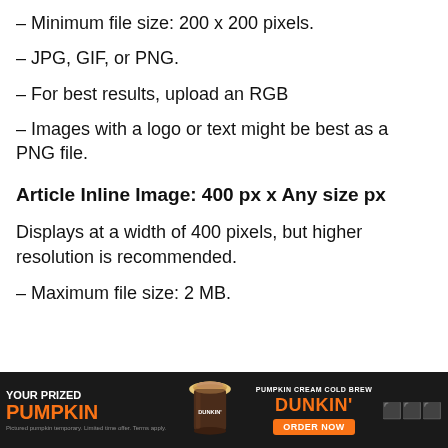– Minimum file size: 200 x 200 pixels.
– JPG, GIF, or PNG.
– For best results, upload an RGB
– Images with a logo or text might be best as a PNG file.
Article Inline Image: 400 px x Any size px
Displays at a width of 400 pixels, but higher resolution is recommended.
– Maximum file size: 2 MB.
[Figure (photo): Dunkin' advertisement banner with orange pumpkin cream cold brew text, a pumpkin spice drink image, and 'YOUR PRIZED PUMPKIN' text with 'ORDER NOW' button on dark background]